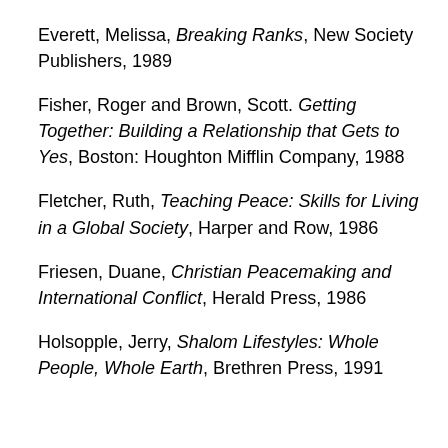Everett, Melissa, Breaking Ranks, New Society Publishers, 1989
Fisher, Roger and Brown, Scott. Getting Together: Building a Relationship that Gets to Yes, Boston: Houghton Mifflin Company, 1988
Fletcher, Ruth, Teaching Peace: Skills for Living in a Global Society, Harper and Row, 1986
Friesen, Duane, Christian Peacemaking and International Conflict, Herald Press, 1986
Holsopple, Jerry, Shalom Lifestyles: Whole People, Whole Earth, Brethren Press, 1991